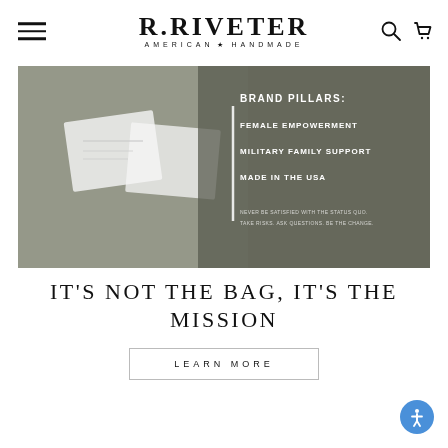R.RIVETER AMERICAN HANDMADE
[Figure (photo): Hero image showing hands holding R.Riveter branded cards/materials with a dark overlay on the right side showing Brand Pillars text]
BRAND PILLARS: FEMALE EMPOWERMENT / MILITARY FAMILY SUPPORT / MADE IN THE USA / NEVER BE SATISFIED WITH THE STATUS QUO. TAKE RISKS. ASK QUESTIONS. BE THE CHANGE.
IT'S NOT THE BAG, IT'S THE MISSION
LEARN MORE